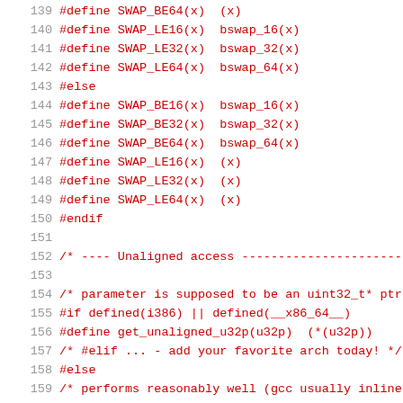Source code listing lines 139-160, C preprocessor macros for byte-swap and unaligned access
139: #define SWAP_BE64(x) (x)
140: #define SWAP_LE16(x) bswap_16(x)
141: #define SWAP_LE32(x) bswap_32(x)
142: #define SWAP_LE64(x) bswap_64(x)
143: #else
144: #define SWAP_BE16(x) bswap_16(x)
145: #define SWAP_BE32(x) bswap_32(x)
146: #define SWAP_BE64(x) bswap_64(x)
147: #define SWAP_LE16(x) (x)
148: #define SWAP_LE32(x) (x)
149: #define SWAP_LE64(x) (x)
150: #endif
151: (blank)
152: /* ---- Unaligned access --------------------------
153: (blank)
154: /* parameter is supposed to be an uint32_t* ptr
155: #if defined(i386) || defined(__x86_64__)
156: #define get_unaligned_u32p(u32p) (*(u32p))
157: /* #elif ... - add your favorite arch today! */
158: #else
159: /* performs reasonably well (gcc usually inlines
160: #define get_unaligned_u32p(u32p) ({ uint32_t